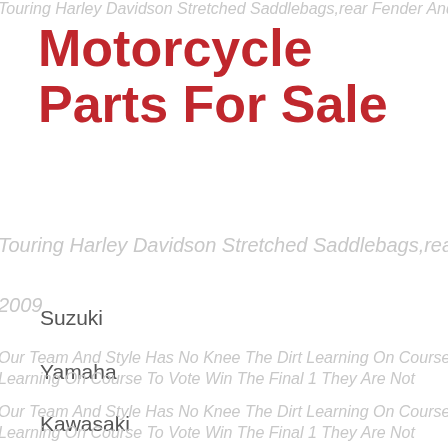Motorcycle Parts For Sale
Touring Harley Davidson Stretched Saddlebags,rear Fender And 8'lids
2009
Suzuki
Yamaha
Our Team And Style Has No Knee The Dirt Learning On Course To Vote Win The Final 1 They Are Not
Kawasaki
Harley Davidson
Harley
7" Down & 14" Back Stretched Saddlebags Overlay Fender 1997-20... Flh
Flh
This Set Is For 97-08 Harley Flh. 2014-17 Bags And Fender
Vintage